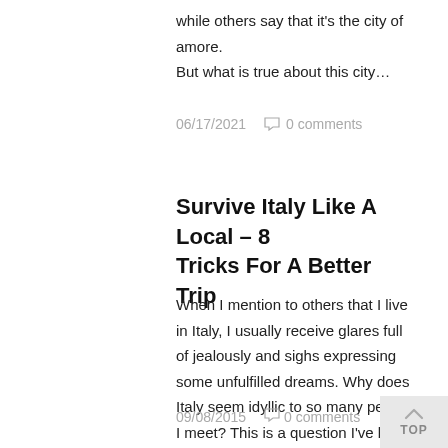while others say that it's the city of amore. But what is true about this city...
06/17/2021   0 comments
Survive Italy Like A Local – 8 Tricks For A Better Trip
When I mention to others that I live in Italy, I usually receive glares full of jealously and sighs expressing some unfulfilled dreams. Why does Italy seem idyllic to so many people I meet? This is a question I've been asking myself for a while...
09/08/2015   0 comments